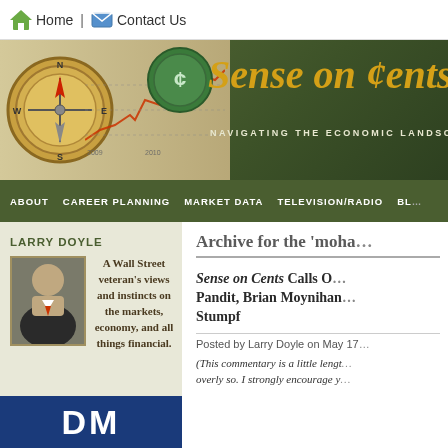Home | Contact Us
[Figure (screenshot): Sense on Cents website banner with compass, stock chart, and coin imagery. Title reads 'Sense on Cents' with tagline 'Navigating the Economic Landscape']
ABOUT | CAREER PLANNING | MARKET DATA | TELEVISION/RADIO | BLOG
LARRY DOYLE
A Wall Street veteran's views and instincts on the markets, economy, and all things financial.
Archive for the 'moha…'
Sense on Cents Calls O… Pandit, Brian Moynihan… Stumpf
Posted by Larry Doyle on May 17…
(This commentary is a little lengt… overly so. I strongly encourage y…